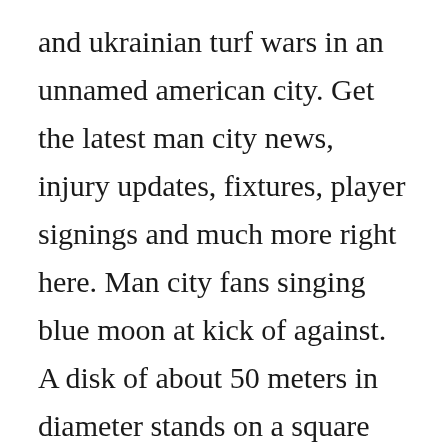and ukrainian turf wars in an unnamed american city. Get the latest man city news, injury updates, fixtures, player signings and much more right here. Man city fans singing blue moon at kick of against. A disk of about 50 meters in diameter stands on a square basement surrounded with walls. Man city blue moon, an album by fans forever on spotify. Blue moon now im no longer alone without a dream in my heart without a love of my own and then there suddenly appeared before me the only one my arms will ever hold i heard somebody whisper please adore